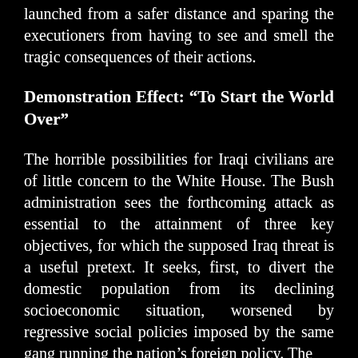launched from a safer distance and sparing the executioners from having to see and smell the tragic consequences of their actions.
Demonstration Effect: “To Start the World Over”
The horrible possibilities for Iraqi civilians are of little concern to the White House. The Bush administration sees the forthcoming attack as essential to the attainment of three key objectives, for which the supposed Iraq threat is a useful pretext. It seeks, first, to divert the domestic population from its declining socioeconomic situation, worsened by regressive social policies imposed by the same gang running the nation’s foreign policy. The